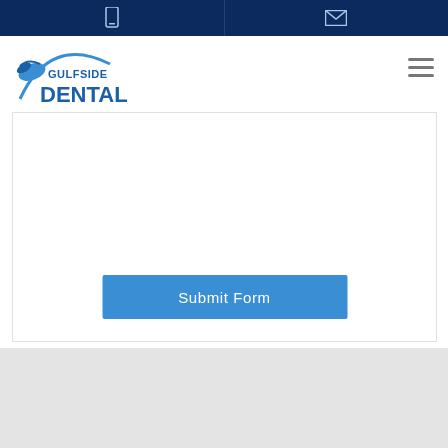Gulfside Dental - navigation bar with phone and email icons
[Figure (logo): Gulfside Dental logo with seagull graphic and text GULFSIDE DENTAL]
Submit Form
[Figure (other): Light grey footer/background area at bottom of page]